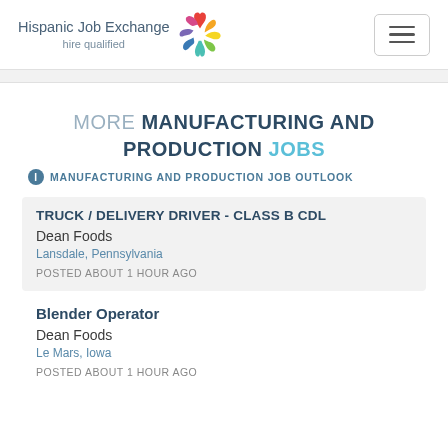Hispanic Job Exchange — hire qualified
MORE MANUFACTURING AND PRODUCTION JOBS
ℹ MANUFACTURING AND PRODUCTION JOB OUTLOOK
TRUCK / DELIVERY DRIVER - CLASS B CDL
Dean Foods
Lansdale, Pennsylvania
POSTED ABOUT 1 HOUR AGO
Blender Operator
Dean Foods
Le Mars, Iowa
POSTED ABOUT 1 HOUR AGO